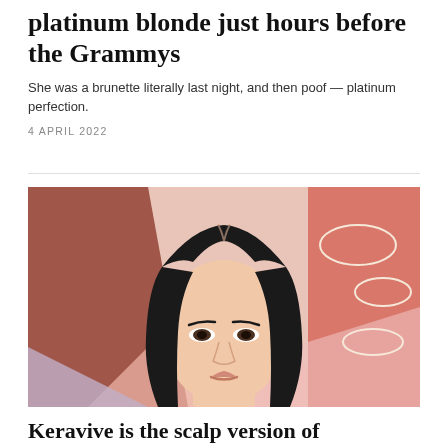platinum blonde just hours before the Grammys
She was a brunette literally last night, and then poof — platinum perfection.
4 APRIL 2022
[Figure (photo): Close-up portrait of a young woman with long straight black hair parted in the middle, against a colorful abstract background with pink, salmon/red, and mauve geometric shapes and white outline oval sketches.]
Keravive is the scalp version of